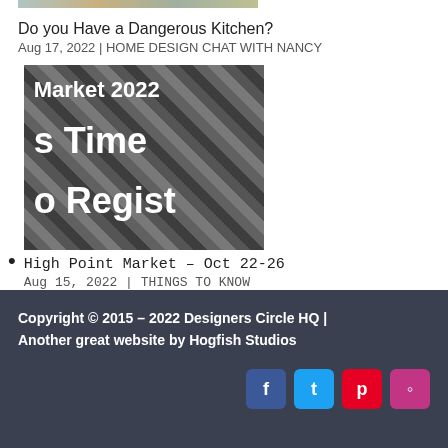[Figure (photo): Partial image strip at top of page showing colorful content]
Do you Have a Dangerous Kitchen?
Aug 17, 2022 | HOME DESIGN CHAT WITH NANCY
[Figure (photo): Image of Market 2022 with text overlay: Market 2022, s Time, o Regist]
High Point Market – Oct 22-26
Aug 15, 2022 | THINGS TO KNOW
click here:  Nancy@DesignersCirclehq.com
Copyright © 2015 – 2022 Designers Circle HQ | Another great website by Hogfish Studios